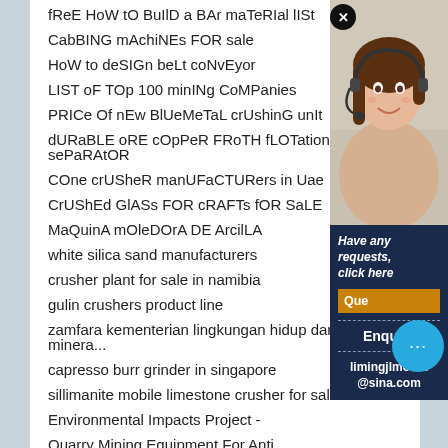fReE HoW tO BuIlD a BAr maTeRIal lISt
CabBING mAchiNEs FOR sale
HoW to deSIGn beLt coNvEyor
LIST oF TOp 100 minINg CoMPanies
PRICe Of nEw BlUeMeTaL crUshinG unIt
dURaBLE oRE cOpPeR FRoTH fLOTation sePaRAtOR
COne crUSheR manUFaCTURers in Uae
CrUShEd GlASs FOR cRAFTs fOR SaLE
MaQuinA mOleDOrA DE ArcilLA
white silica sand manufacturers
crusher plant for sale in namibia
gulin crushers product line
zamfara kementerian lingkungan hidup dan solid minera...
capresso burr grinder in singapore
sillimanite mobile limestone crusher for sale
Environmental Impacts Project -
Quarry Mining Equipment For Anti...
[Figure (photo): Woman with headset smiling, customer service representative photo]
Have any requests, click here
Que...
Enquiry
limingjlmofen@sina.com